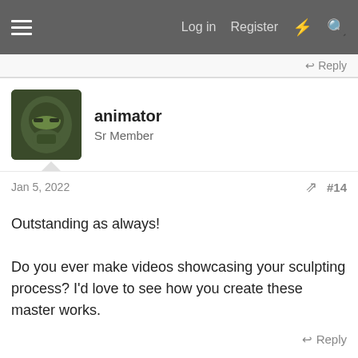Log in  Register
↩ Reply
[Figure (photo): Avatar of user 'animator' showing a Mandalorian helmet illustration]
animator
Sr Member
Jan 5, 2022  #14
Outstanding as always!

Do you ever make videos showcasing your sculpting process? I'd love to see how you create these master works.
↩ Reply
13doctorwho
[Figure (photo): Avatar of user '_Lee_' showing the Joker character]
_Lee_
Sr Member  RPF PREMIUM MEMBER